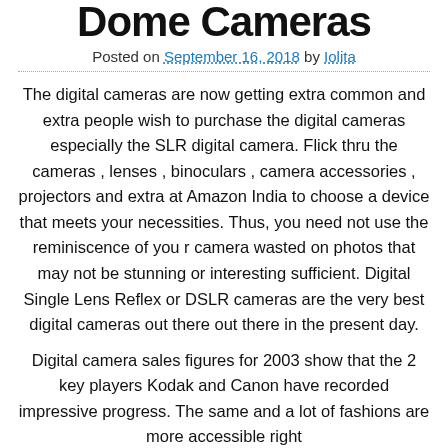Dome Cameras
Posted on September 16, 2018 by Iolita
The digital cameras are now getting extra common and extra people wish to purchase the digital cameras especially the SLR digital camera. Flick thru the cameras , lenses , binoculars , camera accessories , projectors and extra at Amazon India to choose a device that meets your necessities. Thus, you need not use the reminiscence of you r camera wasted on photos that may not be stunning or interesting sufficient. Digital Single Lens Reflex or DSLR cameras are the very best digital cameras out there out there in the present day.
Digital camera sales figures for 2003 show that the 2 key players Kodak and Canon have recorded impressive progress. The same and a lot of fashions are more accessible right...